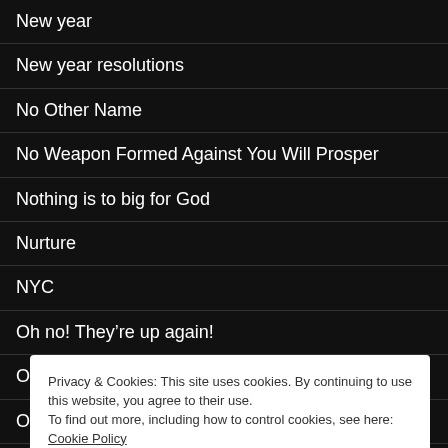New year
New year resolutions
No Other Name
No Weapon Formed Against You Will Prosper
Nothing is to big for God
Nurture
NYC
Oh no! They're up again!
Opposition
O[partially hidden]
O[partially hidden]
P[partially hidden]
Painful
Privacy & Cookies: This site uses cookies. By continuing to use this website, you agree to their use.
To find out more, including how to control cookies, see here: Cookie Policy
Close and accept